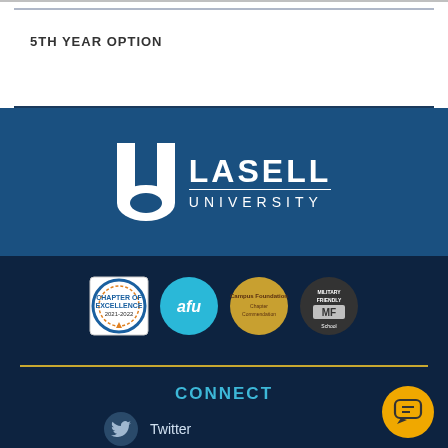5TH YEAR OPTION
[Figure (logo): Lasell University logo — white stylized U letterform beside 'LASELL UNIVERSITY' text on blue background]
[Figure (illustration): Four credential/accreditation badges: 2021-2022 badge, AFU (American Federation of Universities) blue circle badge, Campus Foundation gold circle badge, Military Friendly badge]
CONNECT
Twitter
Instagram
YouTube